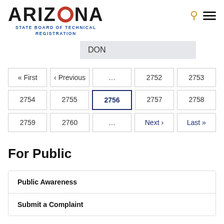[Figure (logo): Arizona State Board of Technical Registration logo with search and menu icons]
DON
« First ‹ Previous ... 2752 2753 2754 2755 2756 2757 2758 2759 2760 ... Next › Last »
For Public
Public Awareness
Submit a Complaint